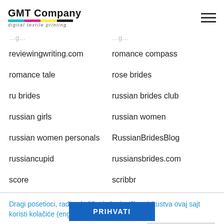[Figure (logo): GMT Company digital textile printing logo with colored stripes (cyan, magenta, yellow, black)]
reviewingwriting.com
romance compass
romance tale
rose brides
ru brides
russian brides club
russian girls
russian women
russian women personals
RussianBridesBlog
russiancupid
russiansbrides.com
score
scribbr
Dragi posetioci, radi poboljšanja korisničkog iskustva ovaj sajt koristi kolačiće (eng. "cookies").
Podešavanje kolačića
PRIHVATI